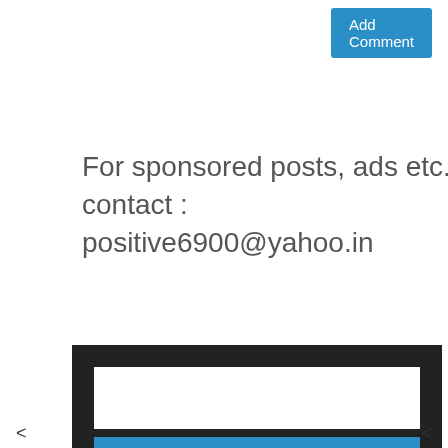Add Comment
For sponsored posts, ads etc. contact : positive6900@yahoo.in
[Figure (screenshot): Search widget with a white text input box and a blue Search button on a dark/black background]
< >